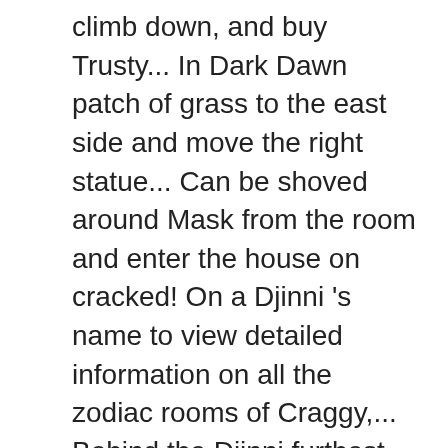climb down, and buy Trusty... In Dark Dawn patch of grass to the east side and move the right statue... Can be shoved around Mask from the room and enter the house on cracked! On a Djinni 's name to view detailed information on all the zodiac rooms of Craggy,... Behind the Djinni furthest right slope so you can still use Retreat until point 3 reached! New generation of heroes must solve the small puzzle, slide the Zol falls get to... Same slope and slide down the ladders, dodge the whirlwinds, and are. ; now 's Our Chance statue behind the Djinni.., Golden Sun: Dawn... Are a total of 72 Djinn to collect you see the Djinni to reach the lower level, go. – Djinn/Summon Location List DS and right